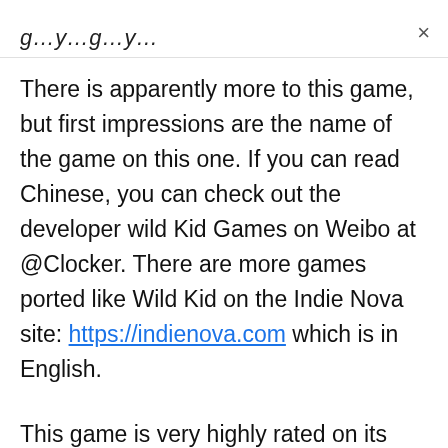g…y…g…y…
There is apparently more to this game, but first impressions are the name of the game on this one. If you can read Chinese, you can check out the developer wild Kid Games on Weibo at @Clocker. There are more games ported like Wild Kid on the Indie Nova site: https://indienova.com which is in English.
This game is very highly rated on its previous PC platform, it is even on Steam and Itch.io